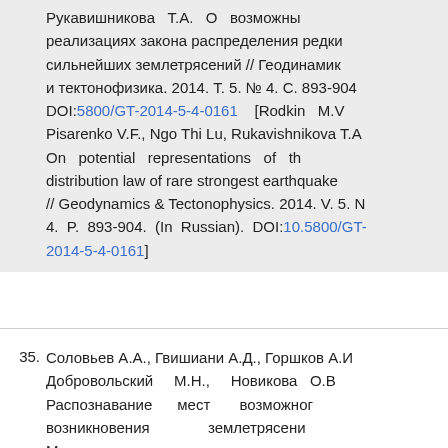Рукавишникова Т.А. О возможных реализациях закона распределения редких сильнейших землетрясений // Геодинамика и тектонофизика. 2014. Т. 5. № 4. С. 893-904. DOI:5800/GT-2014-5-4-0161 [Rodkin M.V., Pisarenko V.F., Ngo Thi Lu, Rukavishnikova T.A. On potential representations of the distribution law of rare strongest earthquakes // Geodynamics & Tectonophysics. 2014. V. 5. N. 4. P. 893-904. (In Russian). DOI:10.5800/GT-2014-5-4-0161]
35. Соловьев А.А., Гвишиани А.Д., Горшков А.И., Добровольский М.Н., Новикова О.В. Распознавание мест возможного возникновения землетрясений. Методология и анализ результатов. Физика Земли. 2014. № 2. С. 3-20. DOI:7868/S0002333714020112 [Soloviev A.A., ...